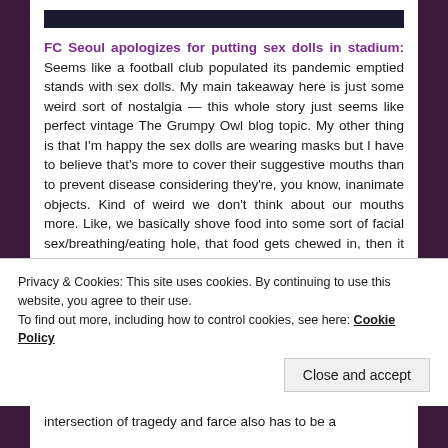FC Seoul apologizes for putting sex dolls in stadium: Seems like a football club populated its pandemic emptied stands with sex dolls. My main takeaway here is just some weird sort of nostalgia — this whole story just seems like perfect vintage The Grumpy Owl blog topic. My other thing is that I'm happy the sex dolls are wearing masks but I have to believe that's more to cover their suggestive mouths than to prevent disease considering they're, you know, inanimate objects. Kind of weird we don't think about our mouths more. Like, we basically shove food into some sort of facial sex/breathing/eating hole, that food gets chewed in, then it gets dumped into an internal meat bag where it's soaked in acid, and none of this is even considered the weirdest or most disgusting part of eating.
Privacy & Cookies: This site uses cookies. By continuing to use this website, you agree to their use. To find out more, including how to control cookies, see here: Cookie Policy
intersection of tragedy and farce also has to be a